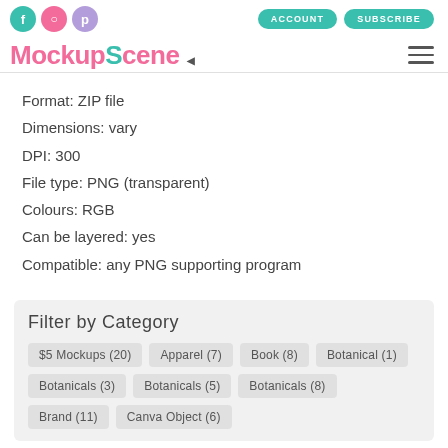MockupScene - social icons, ACCOUNT, SUBSCRIBE, navigation
Format: ZIP file
Dimensions: vary
DPI: 300
File type: PNG (transparent)
Colours: RGB
Can be layered: yes
Compatible: any PNG supporting program
Filter by Category
$5 Mockups (20)
Apparel (7)
Book (8)
Botanical (1)
Botanicals (3)
Botanicals (5)
Botanicals (8)
Brand (11)
Canva Object (6)